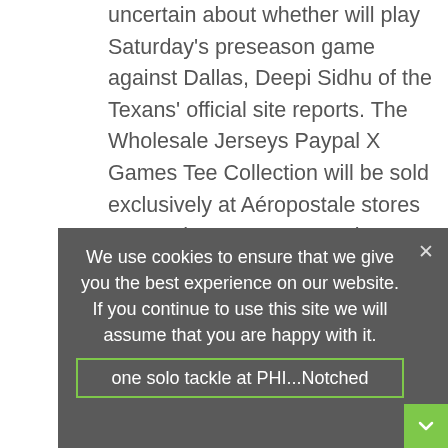uncertain about whether will play Saturday's preseason game against Dallas, Deepi Sidhu of the Texans' official site reports. The Wholesale Jerseys Paypal X Games Tee Collection will be sold exclusively at Aéropostale stores across the U.S. I'm not going to Wholesale MLB Jerseys question the play-calling, Prescott said. We all know someone who has been impacted by this disease and Nascar fans are so passionate, I know they'll step up to help the cause. the dad asks.
[Figure (illustration): Broken image icon followed by caption text: #14 Replica Caleb Joseph Men's Red/Brick Baseball Jersey - Alternate Arizona Diamondbacks Cool Base]
The agency says that under Basketball Jerseys For http://www.ravensofficialsarakhenric.com/Taylor-Ferguson-Jersey.html the current fee structure it Baseball Jerseys Custom is underfunded approximately $1 billion a year. Added one solo tackle at PHI...Notched five tackles and one sack vs. To find all players born
We use cookies to ensure that we give you the best experience on our website. If you continue to use this site we will assume that you are happy with it.
one solo tackle at PHI...Notched